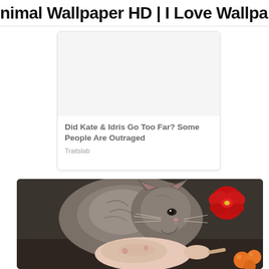nimal Wallpaper HD | I Love Wallpap
[Figure (other): Advertisement card with white background image area, title 'Did Kate & Idris Go Too Far? Some People Are Outraged', source 'Traitslab']
Did Kate & Idris Go Too Far? Some People Are Outraged
Traitslab
[Figure (photo): A fluffy gray cat sniffing or eating a raw chicken/turkey on a dark wooden surface, with a red and gold Christmas bow decoration visible in the background and oranges/clementines in the lower right corner.]